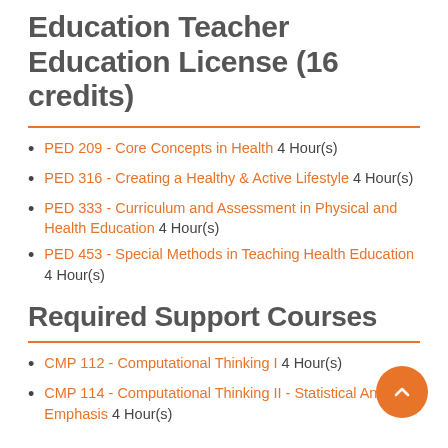Education Teacher Education License (16 credits)
PED 209 - Core Concepts in Health 4 Hour(s)
PED 316 - Creating a Healthy & Active Lifestyle 4 Hour(s)
PED 333 - Curriculum and Assessment in Physical and Health Education 4 Hour(s)
PED 453 - Special Methods in Teaching Health Education 4 Hour(s)
Required Support Courses
CMP 112 - Computational Thinking I 4 Hour(s)
CMP 114 - Computational Thinking II - Statistical Analysis Emphasis 4 Hour(s)